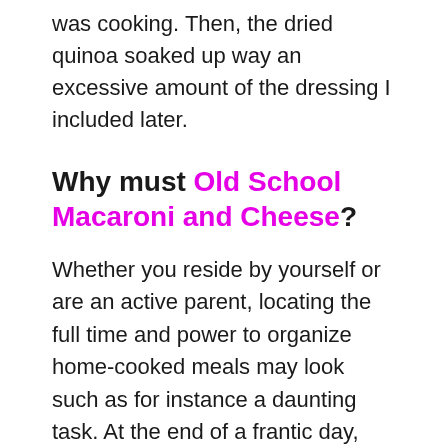was cooking. Then, the dried quinoa soaked up way an excessive amount of the dressing I included later.
Why must Old School Macaroni and Cheese?
Whether you reside by yourself or are an active parent, locating the full time and power to organize home-cooked meals may look such as for instance a daunting task. At the end of a frantic day, eating out or buying in might feel like the quickest, best option. But ease and refined food can have a significant toll on your own temper and health.